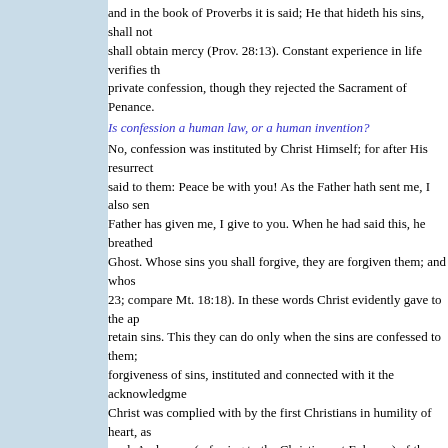and in the book of Proverbs it is said; He that hideth his sins, shall not shall obtain mercy (Prov. 28:13). Constant experience in life verifies th private confession, though they rejected the Sacrament of Penance.
Is confession a human law, or a human invention?
No, confession was instituted by Christ Himself; for after His resurrect said to them: Peace be with you! As the Father hath sent me, I also sen Father has given me, I give to you. When he had said this, he breathed Ghost. Whose sins you shall forgive, they are forgiven them; and whos 23; compare Mt. 18:18). In these words Christ evidently gave to the ap retain sins. This they can do only when the sins are confessed to them; forgiveness of sins, instituted and connected with it the acknowledgme Christ was complied with by the first Christians in humility of heart, as read: And many (referring to the Christians at Ephesus) of them that be (Acts 19:18). And the apostle James exhorts his own: Confess therefor that you may be saved (Jas. 5:16). The work founded by Christ must st disciples of our Lord died, their successors necessarily continued the w is verified by the whole history of His Church. In the very beginning o confessed to the priest all their transgressions, even the smallest and m "Let us be sincerely sorry as long as we live," says St. Clement of Rom which we have committed in the flesh, for having once left the world, t for us." Tertullian (217 A.D.) writes of those who hid their sins, being a the knowledge of God that which we conceal from a fellow creature" ( of baptism, says: "There is still a severer and more tedious way of obta pillow with tears, and is not ashamed to confess his sins to the priest of